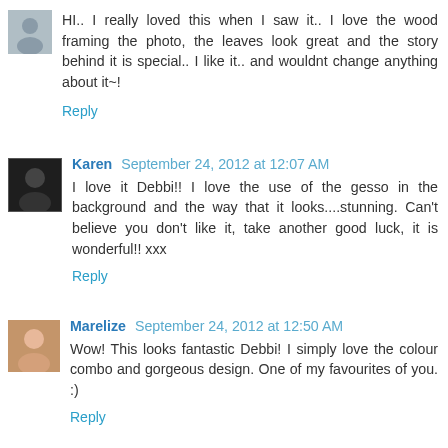HI.. I really loved this when I saw it.. I love the wood framing the photo, the leaves look great and the story behind it is special.. I like it.. and wouldnt change anything about it~!
Reply
Karen  September 24, 2012 at 12:07 AM
I love it Debbi!! I love the use of the gesso in the background and the way that it looks....stunning. Can't believe you don't like it, take another good luck, it is wonderful!! xxx
Reply
Marelize  September 24, 2012 at 12:50 AM
Wow! This looks fantastic Debbi! I simply love the colour combo and gorgeous design. One of my favourites of you. :)
Reply